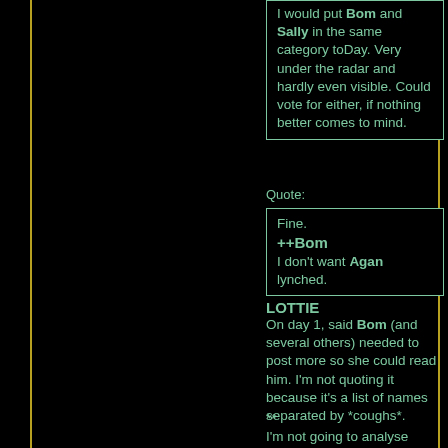I would put Bom and Sally in the same category toDay. Very under the radar and hardly even visible. Could vote for either, if nothing better comes to mind.
Quote:
Fine.
++Bom
I don't want Agan lynched.
LOTTIE
On day 1, said Bom (and several others) needed to post more so she could read him. I'm not quoting it because it's a list of names separated by *coughs*.
**
I'm not going to analyse these to any depth because it